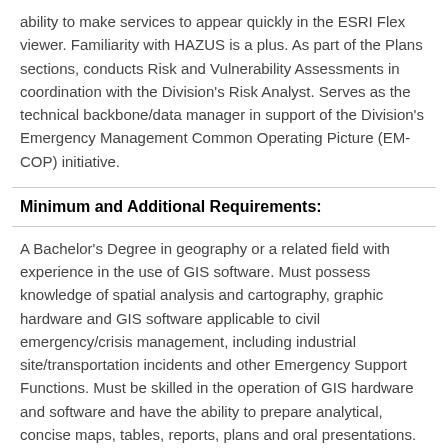ability to make services to appear quickly in the ESRI Flex viewer.  Familiarity with HAZUS is a plus.  As part of the Plans sections, conducts Risk and Vulnerability Assessments in coordination with the Division's Risk Analyst.  Serves as the technical backbone/data manager in support of the Division's Emergency Management Common Operating Picture (EM-COP) initiative.
Minimum and Additional Requirements:
A Bachelor's Degree in geography or a related field with experience in the use of GIS software.  Must possess knowledge of spatial analysis and cartography, graphic hardware and GIS software applicable to civil emergency/crisis management, including industrial site/transportation incidents and other Emergency Support Functions.  Must be skilled in the operation of GIS hardware and software and have the ability to prepare analytical, concise maps, tables, reports, plans and oral presentations.  May incur overnight travel during attendance at conferences, seminars and